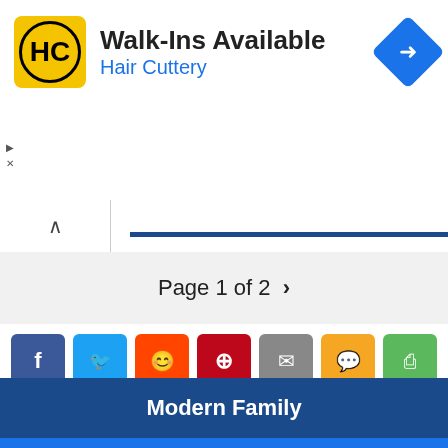[Figure (screenshot): Hair Cuttery advertisement banner with yellow logo, 'Walk-Ins Available' headline, blue subtitle, and directions icon]
Page 1 of 2 >
[Figure (infographic): Social share buttons: Facebook (blue), Twitter (light blue), Reddit (orange), Pinterest (red), Email (gray), SMS (yellow), Share (green)]
View another character
Modern Family
TV Quotes